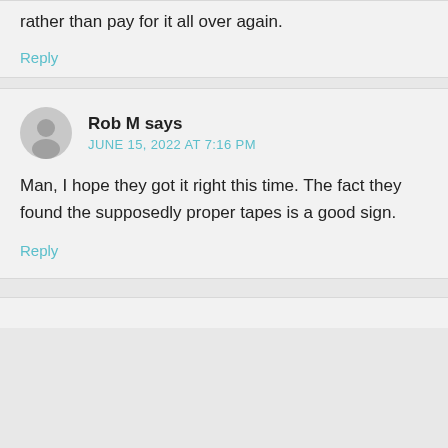rather than pay for it all over again.
Reply
Rob M says
JUNE 15, 2022 AT 7:16 PM
Man, I hope they got it right this time. The fact they found the supposedly proper tapes is a good sign.
Reply